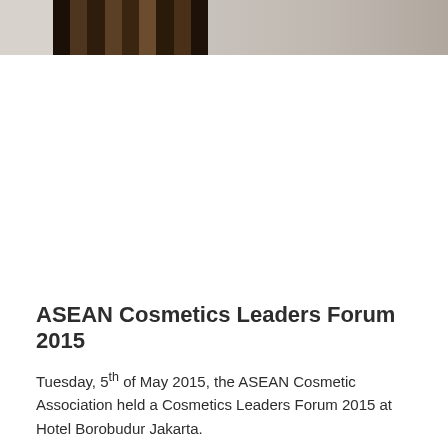[Figure (photo): Partial photograph showing a dark wooden striped panel on the left portion and a blurred beige/grey background on the right portion, cropped at the top of the page.]
ASEAN Cosmetics Leaders Forum 2015
Tuesday, 5th of May 2015, the ASEAN Cosmetic Association held a Cosmetics Leaders Forum 2015 at Hotel Borobudur Jakarta.